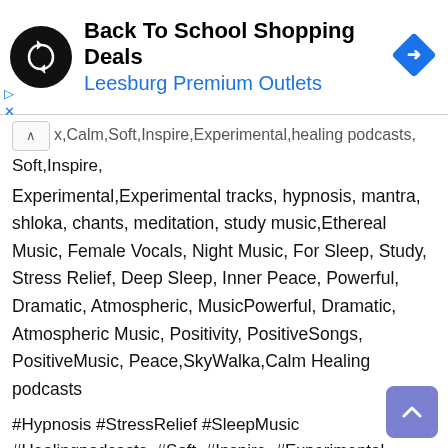[Figure (screenshot): Advertisement banner for Back To School Shopping Deals at Leesburg Premium Outlets, with a circular black logo with a looping arrows icon and a blue diamond navigation icon on the right.]
x,Calm,Soft,Inspire,Experimental,healing podcasts, Soft,Inspire,
Experimental,Experimental tracks, hypnosis, mantra, shloka, chants, meditation, study music,Ethereal Music, Female Vocals, Night Music, For Sleep, Study, Stress Relief, Deep Sleep, Inner Peace, Powerful, Dramatic, Atmospheric, MusicPowerful, Dramatic, Atmospheric Music, Positivity, PositiveSongs, PositiveMusic, Peace,SkyWalka,Calm Healing podcasts
#Hypnosis #StressRelief #SleepMusic #Healingpodcasts, #Soft, #Inspire, #Experimental, #Experimentaltracks, #hypnosis, #mantra, #shloka, #chants, #meditation, #studymusic, #Sunflowers #Sunflowersong #Tulips #Tulip #Tulipssong #Thankyousong #ThankYouSongs #EtherealMusic, #FemaleVocals, #NightMusic, #ForSleep,